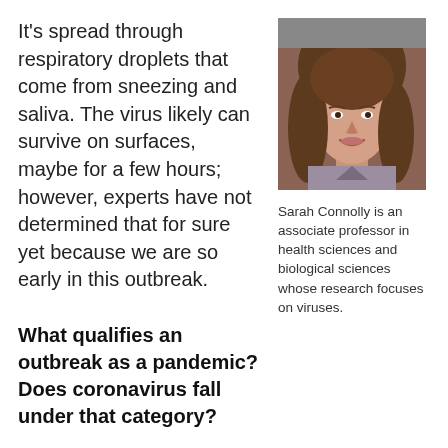It's spread through respiratory droplets that come from sneezing and saliva. The virus likely can survive on surfaces, maybe for a few hours; however, experts have not determined that for sure yet because we are so early in this outbreak.
[Figure (photo): Portrait photo of Sarah Connolly, a woman with long brown hair, smiling]
Sarah Connolly is an associate professor in health sciences and biological sciences whose research focuses on viruses.
What qualifies an outbreak as a pandemic? Does coronavirus fall under that category?
Pandemic means a worldwide spread of the